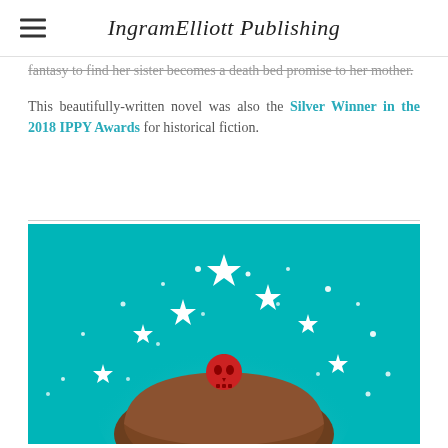IngramElliott Publishing
fantasy to find her sister becomes a death bed promise to her mother.

This beautifully-written novel was also the Silver Winner in the 2018 IPPY Awards for historical fiction.
[Figure (illustration): Book cover illustration showing a teal/turquoise background with white stars scattered around, and a brown pudding or dome-shaped dessert topped with a red skull with a stem, with a glowing light effect behind it.]